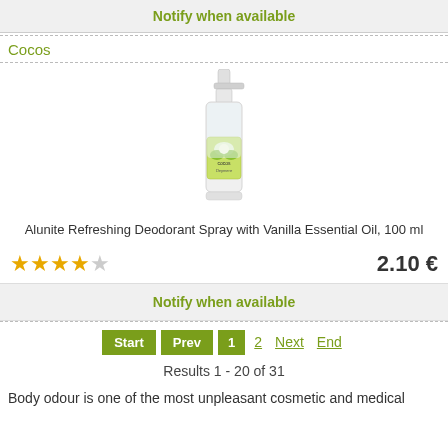Notify when available
Cocos
[Figure (photo): Alunite deodorant spray bottle with green flower label, Cocos brand]
Alunite Refreshing Deodorant Spray with Vanilla Essential Oil, 100 ml
★★★★☆   2.10 €
Notify when available
Start  Prev  1  2  Next  End
Results 1 - 20 of 31
Body odour is one of the most unpleasant cosmetic and medical